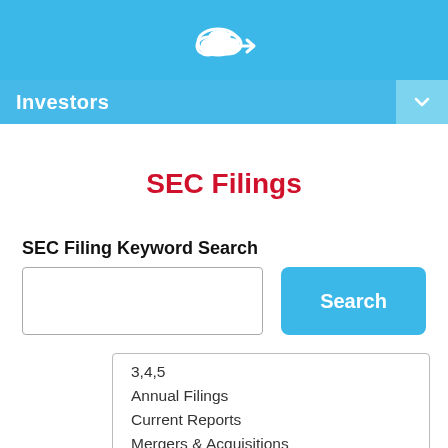[Figure (logo): White cloud with arrow icon on light blue header background]
Investors
SEC Filings
SEC Filing Keyword Search
3,4,5
Annual Filings
Current Reports
Mergers & Acquisitions
Other
Proxy Filings
Quarterly Filings (partially visible)